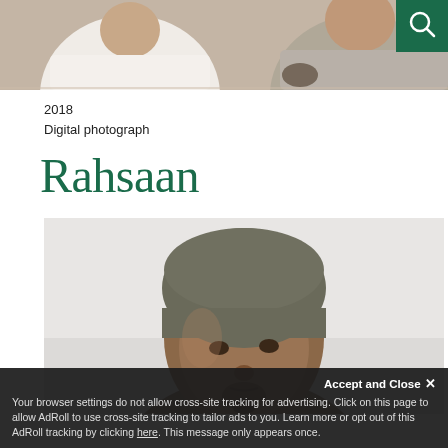[Figure (photo): Top portion of a photo showing two people from the torso/shoulders up, partially cropped. A green search icon is visible in the top-right corner.]
2018
Digital photograph
Rahsaan
[Figure (photo): Close-up portrait photograph of a man named Rahsaan wearing a grey knit beanie hat, looking upward. Light background.]
Accept and Close ✕
Your browser settings do not allow cross-site tracking for advertising. Click on this page to allow AdRoll to use cross-site tracking to tailor ads to you. Learn more or opt out of this AdRoll tracking by clicking here. This message only appears once.